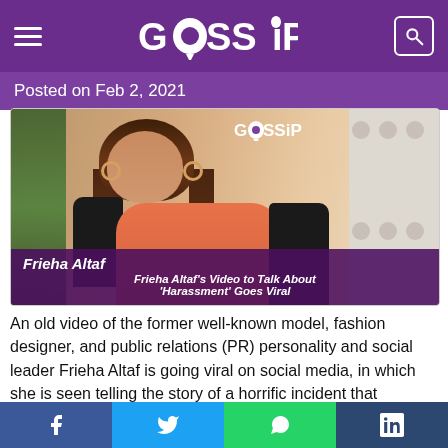GOSSIP
Posted on Feb 2, 2021
[Figure (photo): Photo of Frieha Altaf, a woman in a salmon/coral top with dark hair, with Gossip watermark in top right. Overlay caption: Frieha Altaf — Frieha Altaf's Video to Talk About 'Harassment' Goes Viral]
An old video of the former well-known model, fashion designer, and public relations (PR) personality and social leader Frieha Altaf is going viral on social media, in which she is seen telling the story of a horrific incident that happened to her at a young age. Frieha Altaf's video that
Facebook  Twitter  WhatsApp  Tumblr